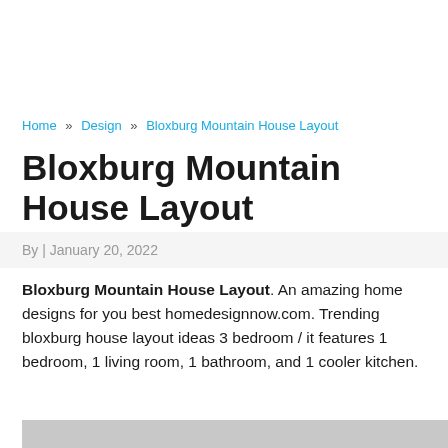Home » Design » Bloxburg Mountain House Layout
Bloxburg Mountain House Layout
By | January 20, 2022
Bloxburg Mountain House Layout. An amazing home designs for you best homedesignnow.com. Trending bloxburg house layout ideas 3 bedroom / it features 1 bedroom, 1 living room, 1 bathroom, and 1 cooler kitchen.
[Figure (photo): Image placeholder for Bloxburg Mountain House Layout]